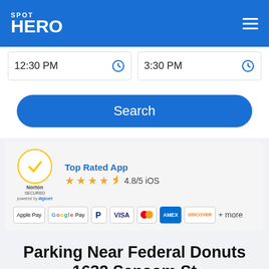SPOT HERO
12:30 PM     3:30 PM
Search
[Figure (screenshot): Norton Secured badge powered by digicert, Top Rated App label, 4.8/5 iOS star rating, and payment method icons: Apple Pay, Google Pay, PayPal, Visa, Mastercard, Amex, Discover + more]
Parking Near Federal Donuts 1632 Sansom St
With the help of SpotHero, enjoy the convenience of